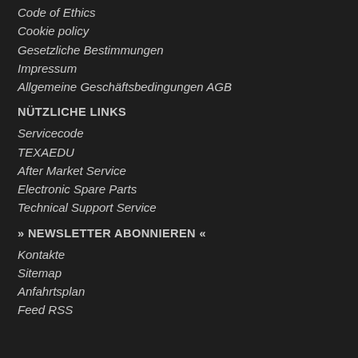Code of Ethics
Cookie policy
Gesetzliche Bestimmungen
Impressum
Allgemeine Geschäftsbedingungen AGB
NÜTZLICHE LINKS
Servicecode
TEXAEDU
After Market Service
Electronic Spare Parts
Technical Support Service
» NEWSLETTER ABONNIEREN «
Kontakte
Sitemap
Anfahrtsplan
Feed RSS